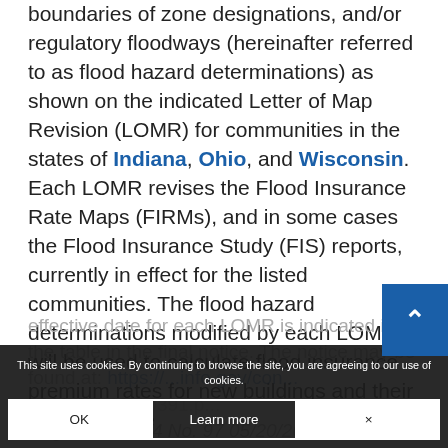boundaries of zone designations, and/or regulatory floodways (hereinafter referred to as flood hazard determinations) as shown on the indicated Letter of Map Revision (LOMR) for communities in the states of Indiana, Ohio, and Wisconsin. Each LOMR revises the Flood Insurance Rate Maps (FIRMs), and in some cases the Flood Insurance Study (FIS) reports, currently in effect for the listed communities. The flood hazard determinations modified by each LOMR will be used to calculate flood insurance premium rates for new buildings and their contents. The effective date for each LOMR is indicated in the table in the final notice. The notice may be found at: https://...info.gov/con.../19-10391.p... 2019-0...  Register Vol. 84 No. 97 05/20/2019...22977...
This site uses cookies. By continuing to browse the site, you are agreeing to our use of cookies.